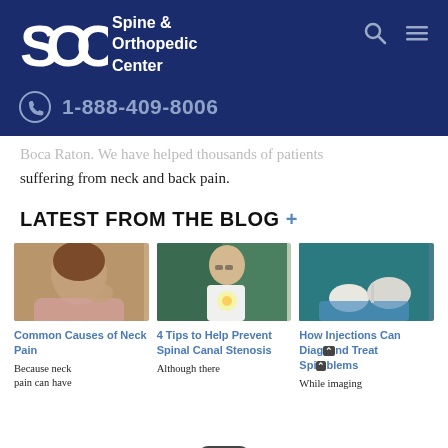Spine & Orthopedic Center | 1-888-409-8006
Boca Raton. We have helped thousands of patients suffering from neck and back pain.
LATEST FROM THE BLOG +
[Figure (photo): Person touching the back of their neck in pain]
Common Causes of Neck Pain
Because neck pain can have
[Figure (photo): Doctor or professional holding a flower, looking concerned]
4 Tips to Help Prevent Spinal Canal Stenosis
Although there
[Figure (photo): Medical professional performing an injection procedure on a patient]
How Injections Can Diagnose And Treat Spinal Problems
While imaging